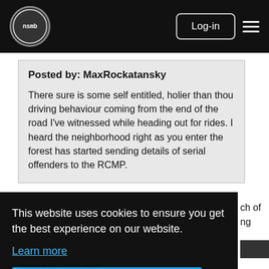nsmb.com — Log-in
Posted by: MaxRockatansky

There sure is some self entitled, holier than thou driving behaviour coming from the end of the road I've witnessed while heading out for rides. I heard the neighborhood right as you enter the forest has started sending details of serial offenders to the RCMP.
This website uses cookies to ensure you get the best experience on our website.
Learn more
Got it!
Posts: 13
Joined: Dec 13, 2020